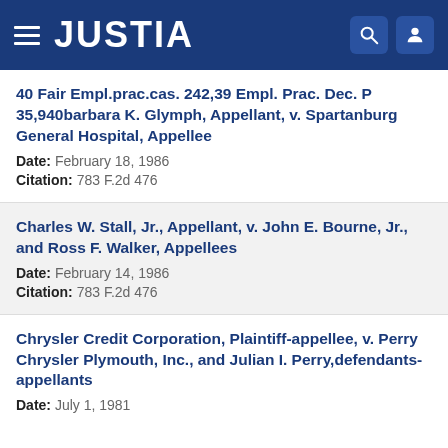JUSTIA
40 Fair Empl.prac.cas. 242,39 Empl. Prac. Dec. P 35,940barbara K. Glymph, Appellant, v. Spartanburg General Hospital, Appellee
Date: February 18, 1986
Citation: 783 F.2d 476
Charles W. Stall, Jr., Appellant, v. John E. Bourne, Jr., and Ross F. Walker, Appellees
Date: February 14, 1986
Citation: 783 F.2d 476
Chrysler Credit Corporation, Plaintiff-appellee, v. Perry Chrysler Plymouth, Inc., and Julian I. Perry,defendants-appellants
Date: July 1, 1981